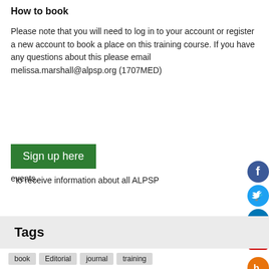How to book
Please note that you will need to log in to your account or register a new account to book a place on this training course. If you have any questions about this please email melissa.marshall@alpsp.org (1707MED)
Sign up here to receive information about all ALPSP events.
[Figure (infographic): Social media icons column on right side: Facebook (blue circle), Twitter (blue circle), LinkedIn (blue circle), YouTube (red square), Blogger (orange circle)]
Tags
book
Editorial
journal
training